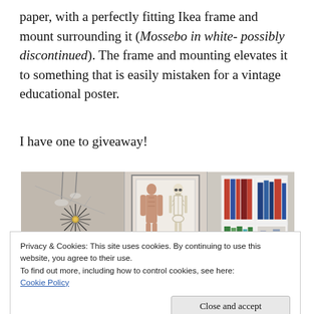paper, with a perfectly fitting Ikea frame and mount surrounding it (Mossebo in white- possibly discontinued). The frame and mounting elevates it to something that is easily mistaken for a vintage educational poster.
I have one to giveaway!
[Figure (photo): Interior room photo showing a starburst clock on a grey wall, a framed anatomical poster (skeleton/muscle diagram), and a white bookshelf with books on the right.]
Privacy & Cookies: This site uses cookies. By continuing to use this website, you agree to their use.
To find out more, including how to control cookies, see here: Cookie Policy
Close and accept